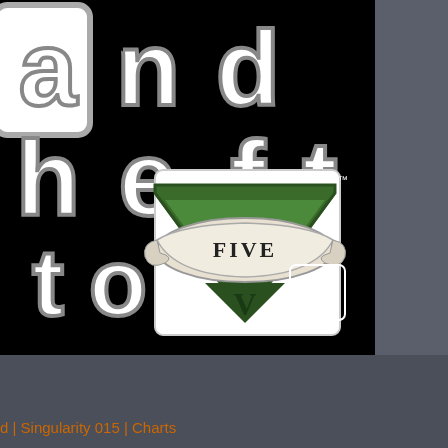[Figure (logo): Grand Theft Auto V (GTA V) game cover art showing partial GTA logo text in white with black outline on black background, with the GTA V green and black V emblem featuring a scroll banner reading FIVE V, and Rockstar Games logo in bottom right corner]
d | Singularity 015 | Charts